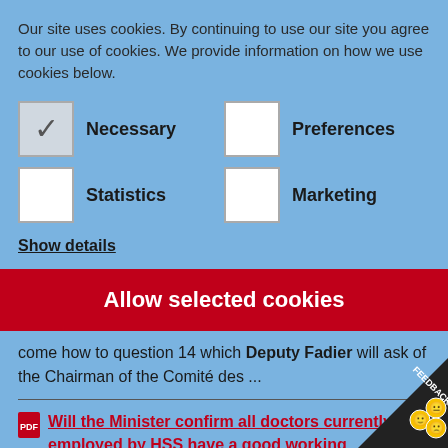Our site uses cookies. By continuing to use our site you agree to our use of cookies. We provide information on how we use cookies below.
Necessary (checked), Preferences (unchecked), Statistics (unchecked), Marketing (unchecked)
Show details
Allow selected cookies
come how to question 14 which Deputy Fadier will ask of the Chairman of the Comité des ...
Will the Minister confirm all doctors currently employed by HSS have a good working knowledge of the English langu...